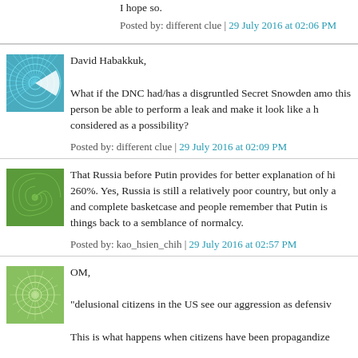I hope so.
Posted by: different clue | 29 July 2016 at 02:06 PM
David Habakkuk,

What if the DNC had/has a disgruntled Secret Snowden amo this person be able to perform a leak and make it look like a h considered as a possibility?
Posted by: different clue | 29 July 2016 at 02:09 PM
That Russia before Putin provides for better explanation of hi 260%. Yes, Russia is still a relatively poor country, but only a and complete basketcase and people remember that Putin is things back to a semblance of normalcy.
Posted by: kao_hsien_chih | 29 July 2016 at 02:57 PM
OM,

"delusional citizens in the US see our aggression as defensiv

This is what happens when citizens have been propagandize